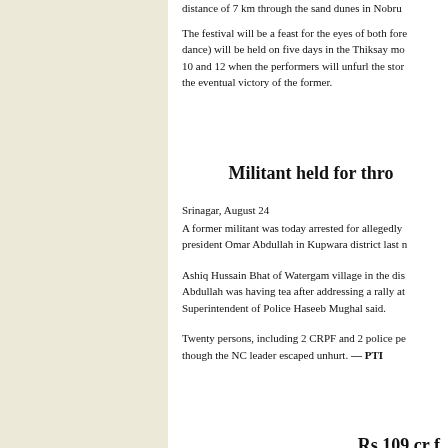distance of 7 km through the sand dunes in Nobru...
The festival will be a feast for the eyes of both fore... dance) will be held on five days in the Thiksay mo... 10 and 12 when the performers will unfurl the stor... the eventual victory of the former.
Militant held for thro...
Srinagar, August 24
A former militant was today arrested for allegedly ... president Omar Abdullah in Kupwara district last n...
Ashiq Hussain Bhat of Watergam village in the dis... Abdullah was having tea after addressing a rally at... Superintendent of Police Haseeb Mughal said.
Twenty persons, including 2 CRPF and 2 police pe... though the NC leader escaped unhurt. — PTI
Rs 109 cr f...